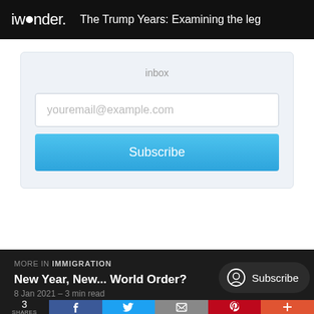iwonder. | The Trump Years: Examining the leg
inbox
youremail@example.com
Subscribe
MORE IN IMMIGRATION
New Year, New... World Order?
8 Jan 2021 – 3 min read
3 SHARES
Subscribe